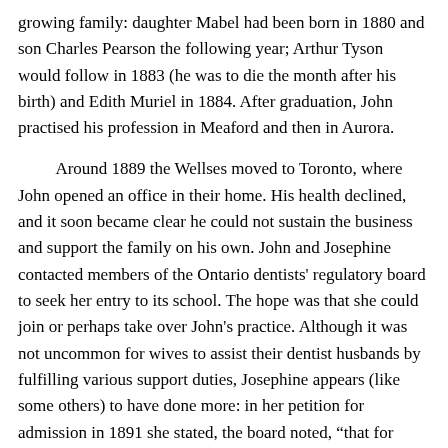growing family: daughter Mabel had been born in 1880 and son Charles Pearson the following year; Arthur Tyson would follow in 1883 (he was to die the month after his birth) and Edith Muriel in 1884. After graduation, John practised his profession in Meaford and then in Aurora.

Around 1889 the Wellses moved to Toronto, where John opened an office in their home. His health declined, and it soon became clear he could not sustain the business and support the family on his own. John and Josephine contacted members of the Ontario dentists' regulatory board to seek her entry to its school. The hope was that she could join or perhaps take over John's practice. Although it was not uncommon for wives to assist their dentist husbands by fulfilling various support duties, Josephine appears (like some others) to have done more: in her petition for admission in 1891 she stated, the board noted, “that for some years she has performed most of the work in the office.” She asked that she be accepted despite the absence of “any Certificate